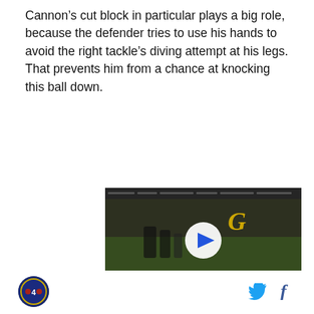Cannon’s cut block in particular plays a big role, because the defender tries to use his hands to avoid the right tackle’s diving attempt at his legs. That prevents him from a chance at knocking this ball down.
[Figure (screenshot): Video player screenshot showing 'Top Articles' label with a football game clip, play button, controls, and caption reading 'The best ‘Madden 23’ glitches the internet has to offer']
Site logo icon | Twitter icon | Facebook icon